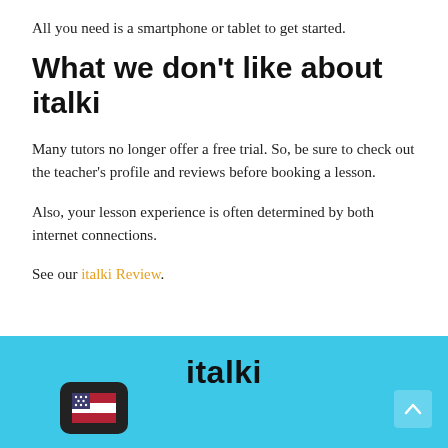All you need is a smartphone or tablet to get started.
What we don't like about italki
Many tutors no longer offer a free trial. So, be sure to check out the teacher's profile and reviews before booking a lesson.
Also, your lesson experience is often determined by both internet connections.
See our italki Review.
[Figure (screenshot): italki app banner with logo text 'italki' on a light blue background, with a dark icon showing a US flag emoji on the left and a scroll-up button on the right.]